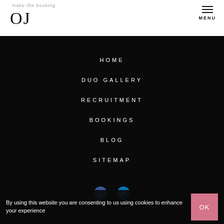make the booking · OJ
HOME
DUO GALLERY
RECRUITMENT
BOOKINGS
BLOG
SITEMAP
By using this website you are consenting to us using cookies to enhance your experience